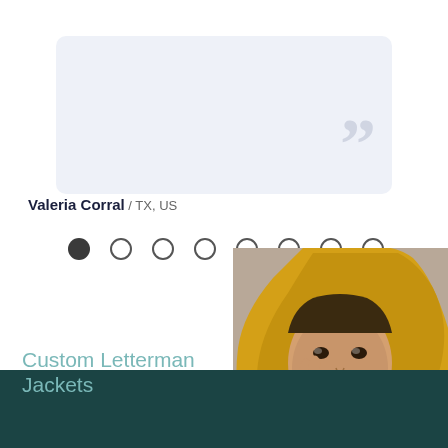[Figure (illustration): Light blue-grey rounded testimonial card with large decorative closing quotation marks in the bottom-right corner]
Valeria Corral / TX, US
[Figure (infographic): Carousel navigation dots: 8 circles, first one filled dark, rest are outlines]
[Figure (photo): Young woman wearing a yellow hooded jacket, looking intensely at camera, photo cropped to show face and upper body]
Design Your Own
Custom Letterman Jackets